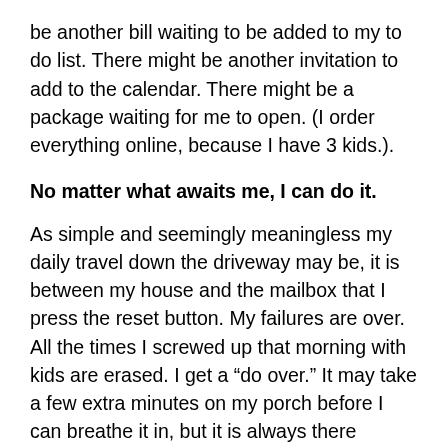be another bill waiting to be added to my to do list. There might be another invitation to add to the calendar. There might be a package waiting for me to open. (I order everything online, because I have 3 kids.).
No matter what awaits me, I can do it.
As simple and seemingly meaningless my daily travel down the driveway may be, it is between my house and the mailbox that I press the reset button. My failures are over. All the times I screwed up that morning with kids are erased. I get a “do over.” It may take a few extra minutes on my porch before I can breathe it in, but it is always there waiting for me. I need it.
Thank you for the offer, but please do not check my mail for me when you come to visit.
Many parents have an escape place they run to when